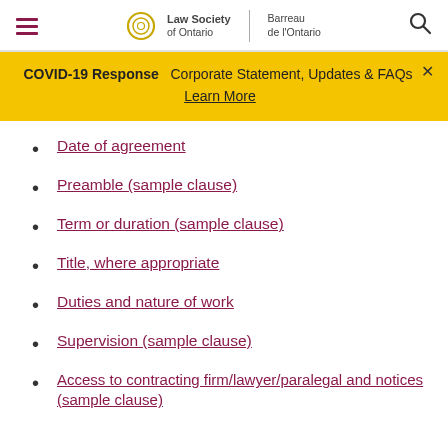Law Society of Ontario | Barreau de l'Ontario
COVID-19 Response  Corporate Statement, Updates & FAQs  Learn More
Date of agreement
Preamble (sample clause)
Term or duration (sample clause)
Title, where appropriate
Duties and nature of work
Supervision (sample clause)
Access to contracting firm/lawyer/paralegal and notices (sample clause)